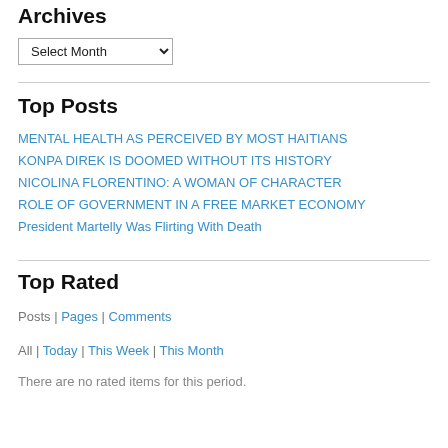Archives
Select Month (dropdown)
Top Posts
MENTAL HEALTH AS PERCEIVED BY MOST HAITIANS
KONPA DIREK IS DOOMED WITHOUT ITS HISTORY
NICOLINA FLORENTINO: A WOMAN OF CHARACTER
ROLE OF GOVERNMENT IN A FREE MARKET ECONOMY
President Martelly Was Flirting With Death
Top Rated
Posts | Pages | Comments
All | Today | This Week | This Month
There are no rated items for this period.